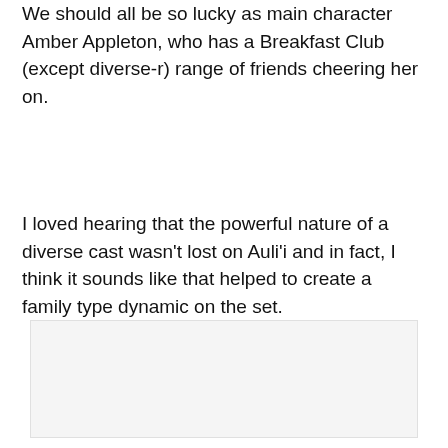We should all be so lucky as main character Amber Appleton, who has a Breakfast Club (except diverse-r) range of friends cheering her on.
I loved hearing that the powerful nature of a diverse cast wasn't lost on Auli'i and in fact, I think it sounds like that helped to create a family type dynamic on the set.
[Figure (photo): A light gray rectangular image placeholder area at the bottom of the page.]